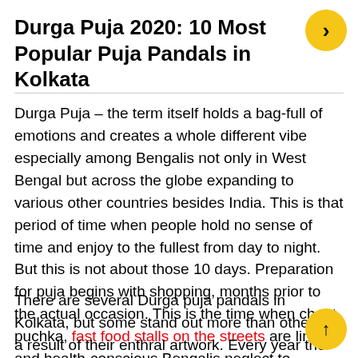Durga Puja 2020: 10 Most Popular Puja Pandals in Kolkata
Durga Puja – the term itself holds a bag-full of emotions and creates a whole different vibe especially among Bengalis not only in West Bengal but across the globe expanding to various other countries besides India. This is that period of time when people hold no sense of time and enjoy to the fullest from day to night. But this is not about those 10 days. Preparation for puja begins with shopping, months prior to the actual occasion. This is the time when chaat, puchka, fast food stalls on the streets are lined, and health-conscious Bengalis neglect to compromise with what they eat.
There are several Durga puja pandals in Kolkata, but some stand out more than others as a result of their enthral artwork. Every year the various puja committees challe each other to stand out and gather as many entrants as